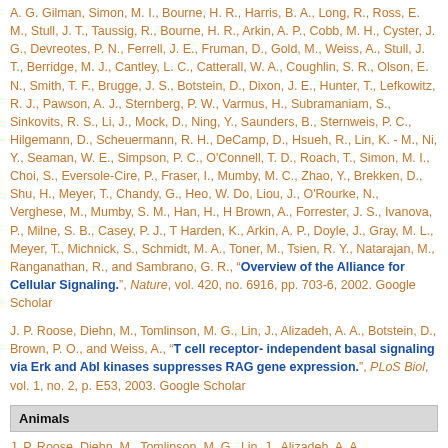A. G. Gilman, Simon, M. I., Bourne, H. R., Harris, B. A., Long, R., Ross, E. M., Stull, J. T., Taussig, R., Bourne, H. R., Arkin, A. P., Cobb, M. H., Cyster, J. G., Devreotes, P. N., Ferrell, J. E., Fruman, D., Gold, M., Weiss, A., Stull, J. T., Berridge, M. J., Cantley, L. C., Catterall, W. A., Coughlin, S. R., Olson, E. N., Smith, T. F., Brugge, J. S., Botstein, D., Dixon, J. E., Hunter, T., Lefkowitz, R. J., Pawson, A. J., Sternberg, P. W., Varmus, H., Subramaniam, S., Sinkovits, R. S., Li, J., Mock, D., Ning, Y., Saunders, B., Sternweis, P. C., Hilgemann, D., Scheuermann, R. H., DeCamp, D., Hsueh, R., Lin, K. - M., Ni, Y., Seaman, W. E., Simpson, P. C., O'Connell, T. D., Roach, T., Simon, M. I., Choi, S., Eversole-Cire, P., Fraser, I., Mumby, M. C., Zhao, Y., Brekken, D., Shu, H., Meyer, T., Chandy, G., Heo, W. Do, Liou, J., O'Rourke, N., Verghese, M., Mumby, S. M., Han, H., H Brown, A., Forrester, J. S., Ivanova, P., Milne, S. B., Casey, P. J., T Harden, K., Arkin, A. P., Doyle, J., Gray, M. L., Meyer, T., Michnick, S., Schmidt, M. A., Toner, M., Tsien, R. Y., Natarajan, M., Ranganathan, R., and Sambrano, G. R., "Overview of the Alliance for Cellular Signaling.", Nature, vol. 420, no. 6916, pp. 703-6, 2002. Google Scholar
J. P. Roose, Diehn, M., Tomlinson, M. G., Lin, J., Alizadeh, A. A., Botstein, D., Brown, P. O., and Weiss, A., "T cell receptor-independent basal signaling via Erk and Abl kinases suppresses RAG gene expression.", PLoS Biol, vol. 1, no. 2, p. E53, 2003. Google Scholar
Animals
J. P. Roose, Diehn, M., Tomlinson, M. G., Lin, J., Alizadeh, A. A.,